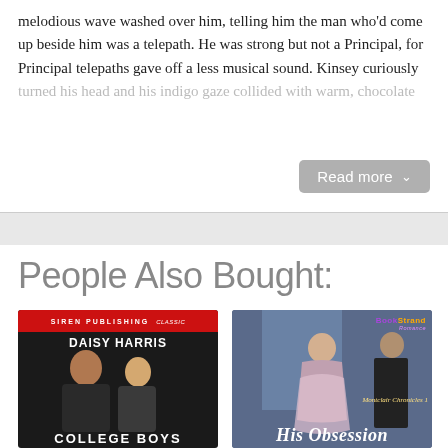melodious wave washed over him, telling him the man who'd come up beside him was a telepath. He was strong but not a Principal, for Principal telepaths gave off a less musical sound. Kinsey curiously turned his head and his indigo gaze collided with warm, chocolate
Read more
People Also Bought:
[Figure (photo): Book cover: Daisy Harris - COLLEGE BOYS, Siren Publishing Classic, dark background with two male figures]
[Figure (photo): Book cover: His Obsession, Montclair Chronicles 1, BookStrand Romance, featuring a woman in period dress and a man in a suit against a blue background]